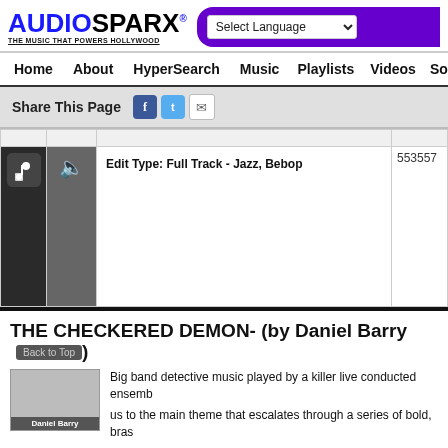[Figure (logo): AudioSparx logo with tagline THE MUSIC THAT POWERS HOLLYWOOD]
Select Language
Home  About  HyperSearch  Music  Playlists  Videos  Sound
Share This Page
|  |  | Edit Type: Full Track - Jazz, Bebop | 553557 |
| --- | --- | --- | --- |
THE CHECKERED DEMON - (by Daniel Barry)
Big band detective music played by a killer live conducted ensemb
us to the main theme that escalates through a series of bold, bras